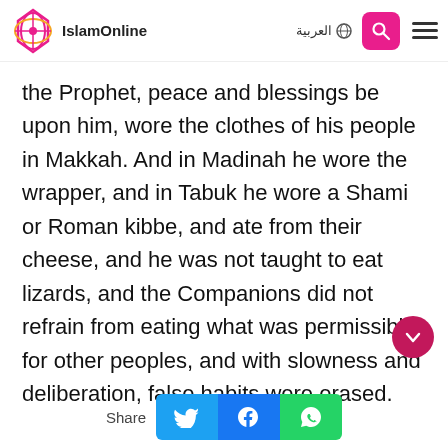IslamOnline | العربية
the Prophet, peace and blessings be upon him, wore the clothes of his people in Makkah. And in Madinah he wore the wrapper, and in Tabuk he wore a Shami or Roman kibbe, and ate from their cheese, and he was not taught to eat lizards, and the Companions did not refrain from eating what was permissible for other peoples, and with slowness and deliberation, false habits were erased.